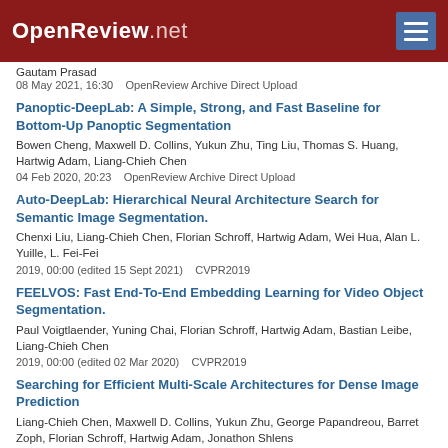OpenReview.net
Gautam Prasad
08 May 2021, 16:30    OpenReview Archive Direct Upload
Panoptic-DeepLab: A Simple, Strong, and Fast Baseline for Bottom-Up Panoptic Segmentation
Bowen Cheng, Maxwell D. Collins, Yukun Zhu, Ting Liu, Thomas S. Huang, Hartwig Adam, Liang-Chieh Chen
04 Feb 2020, 20:23    OpenReview Archive Direct Upload
Auto-DeepLab: Hierarchical Neural Architecture Search for Semantic Image Segmentation.
Chenxi Liu, Liang-Chieh Chen, Florian Schroff, Hartwig Adam, Wei Hua, Alan L. Yuille, L. Fei-Fei
2019, 00:00 (edited 15 Sept 2021)    CVPR2019
FEELVOS: Fast End-To-End Embedding Learning for Video Object Segmentation.
Paul Voigtlaender, Yuning Chai, Florian Schroff, Hartwig Adam, Bastian Leibe, Liang-Chieh Chen
2019, 00:00 (edited 02 Mar 2020)    CVPR2019
Searching for Efficient Multi-Scale Architectures for Dense Image Prediction
Liang-Chieh Chen, Maxwell D. Collins, Yukun Zhu, George Papandreou, Barret Zoph, Florian Schroff, Hartwig Adam, Jonathon Shlens
2018, 00:00 (edited 16 Jul 2019)    NeurIPS 2018